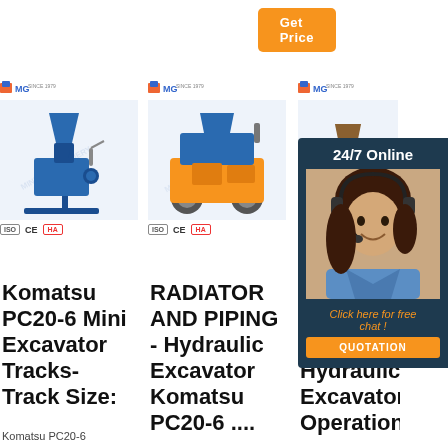[Figure (screenshot): Orange Get Price button at top right]
[Figure (photo): Product 1: Blue machine with funnel/hopper - MG Since 1979 logo, CE and HA certifications]
Komatsu PC20-6 Mini Excavator Tracks- Track Size:
Komatsu PC20-6
[Figure (photo): Product 2: Yellow/orange wheeled mining vehicle - MG Since 1979 logo, CE and HA certifications]
RADIATOR AND PIPING - Hydraulic Excavator Komatsu PC20-6 ....
[Figure (photo): Product 3: MG Since 1979 logo, partially visible behind chat overlay]
Ko... PC... PC... Hydraulic Excavator Operation ...
[Figure (infographic): 24/7 Online customer service chat overlay with woman wearing headset, Click here for free chat!, QUOTATION button]